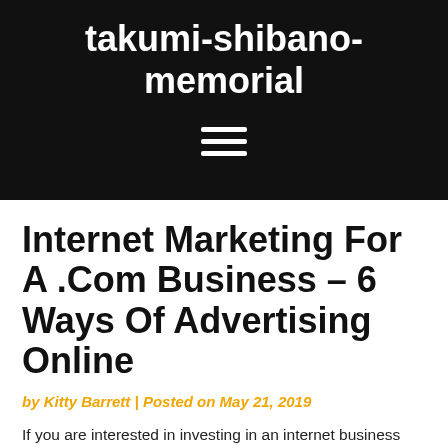takumi-shibano-memorial
Internet Marketing For A .Com Business – 6 Ways Of Advertising Online
by Kitty Barrett | Posted on May 21, 2019
If you are interested in investing in an internet business